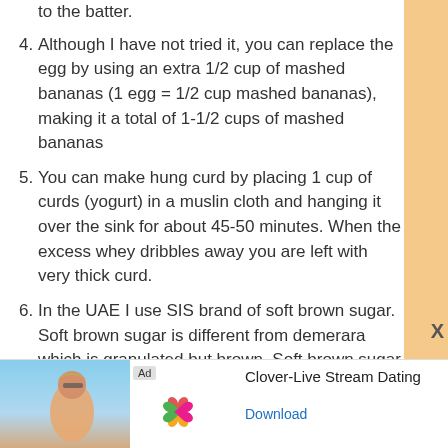to the batter.
4. Although I have not tried it, you can replace the egg by using an extra 1/2 cup of mashed bananas (1 egg = 1/2 cup mashed bananas), making it a total of 1-1/2 cups of mashed bananas
5. You can make hung curd by placing 1 cup of curds (yogurt) in a muslin cloth and hanging it over the sink for about 45-50 minutes. When the excess whey dribbles away you are left with very thick curd.
6. In the UAE I use SIS brand of soft brown sugar. Soft brown sugar is different from demerara which is granulated but brown. Soft brown sugar is very soft to the touch and has a finer texture than demerara (almost like finely powdered jaggery in terms of texture)
Nutrition
[Figure (other): Advertisement banner for Clover-Live Stream Dating app with photo of woman on beach, app icon, and Download link]